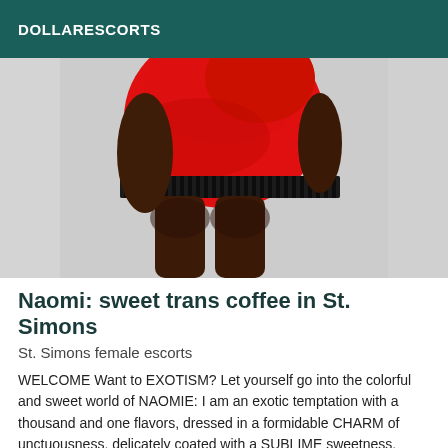DOLLARESCORTS
[Figure (photo): Photo of a person wearing a red top and black lace band, dark skin legs visible, against a light gray background]
Naomi: sweet trans coffee in St. Simons
St. Simons female escorts
WELCOME Want to EXOTISM? Let yourself go into the colorful and sweet world of NAOMIE: I am an exotic temptation with a thousand and one flavors, dressed in a formidable CHARM of unctuousness, delicately coated with a SUBLIME sweetness, wrapped in an enigmatic CHARM, DELICIOUS with mystery and garnished with a